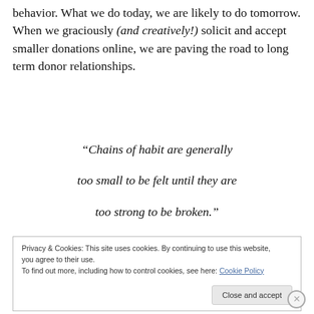behavior. What we do today, we are likely to do tomorrow. When we graciously (and creatively!) solicit and accept smaller donations online, we are paving the road to long term donor relationships.
“Chains of habit are generally too small to be felt until they are too strong to be broken.”
~Samuel Johnson
Privacy & Cookies: This site uses cookies. By continuing to use this website, you agree to their use. To find out more, including how to control cookies, see here: Cookie Policy